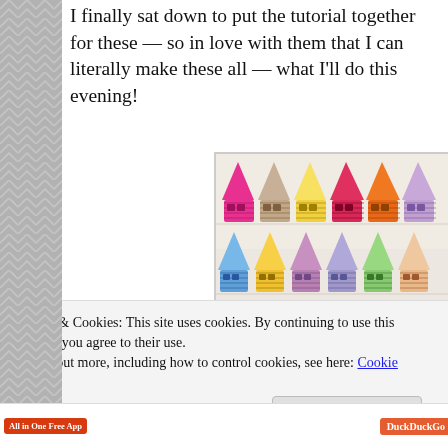I finally sat down to put the tutorial together for these — so in love with them that I can literally make these all — what I'll do this evening!
[Figure (photo): Rows of colorful crocheted gnome/house figures arranged in three rows. Top row: pink, beige, yellow, red/pink, orange, lavender. Middle row: blue, yellow, purple/mauve, lavender, green, peach, light blue. Bottom row: purple, pink, gold/yellow, mauve/purple, salmon/pink, cream.]
Privacy & Cookies: This site uses cookies. By continuing to use this website, you agree to their use.
To find out more, including how to control cookies, see here: Cookie Policy
Close and accept